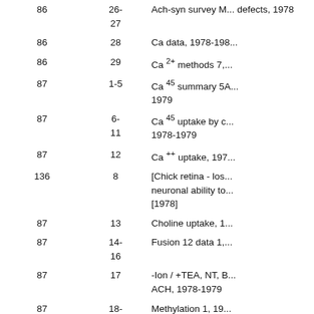| [Book] | [Page] | Description |
| --- | --- | --- |
| 86 | 26-
27 | Ach-syn survey M... defects, 1978 |
| 86 | 28 | Ca data, 1978-198... |
| 86 | 29 | Ca 2+ methods 7,... |
| 87 | 1-5 | Ca 45 summary 5A... 1979 |
| 87 | 6-
11 | Ca 45 uptake by c... 1978-1979 |
| 87 | 12 | Ca ++ uptake, 197... |
| 136 | 8 | [Chick retina - los... neuronal ability to... [1978] |
| 87 | 13 | Choline uptake, 1... |
| 87 | 14-
16 | Fusion 12 data 1,... |
| 87 | 17 | -Ion / +TEA, NT, B... ACH, 1978-1979 |
| 87 | 18-
19 | Methylation 1, 19... |
| 87 | 20 | Presynaptic toxin... |
| 87 | 21 | Solution ... 4... |